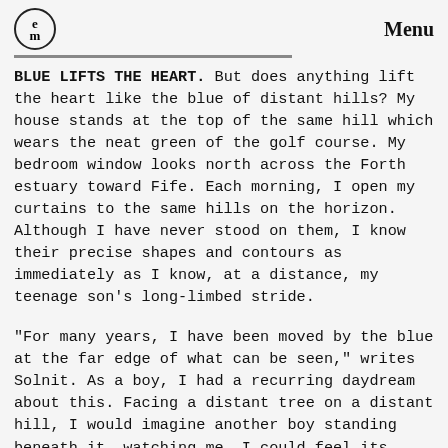em | Menu
BLUE LIFTS THE HEART. But does anything lift the heart like the blue of distant hills? My house stands at the top of the same hill which wears the neat green of the golf course. My bedroom window looks north across the Forth estuary toward Fife. Each morning, I open my curtains to the same hills on the horizon. Although I have never stood on them, I know their precise shapes and contours as immediately as I know, at a distance, my teenage son’s long-limbed stride.
“For many years, I have been moved by the blue at the far edge of what can be seen,” writes Solnit. As a boy, I had a recurring daydream about this. Facing a distant tree on a distant hill, I would imagine another boy standing beneath it, watching me. I could feel its rough bark under his hand, the rich blue chill of its shade, hear the rush of wind through its branches. And I imagine him seeing me with the same clarity, as clearly
[Figure (illustration): Black circular badge with white text reading 'News letter']